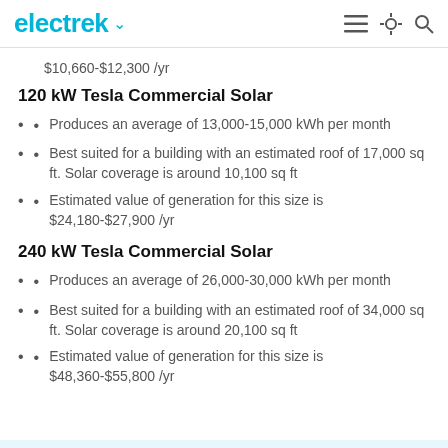electrek
$10,660-$12,300 /yr
120 kW Tesla Commercial Solar
Produces an average of 13,000-15,000 kWh per month
Best suited for a building with an estimated roof of 17,000 sq ft. Solar coverage is around 10,100 sq ft
Estimated value of generation for this size is $24,180-$27,900 /yr
240 kW Tesla Commercial Solar
Produces an average of 26,000-30,000 kWh per month
Best suited for a building with an estimated roof of 34,000 sq ft. Solar coverage is around 20,100 sq ft
Estimated value of generation for this size is $48,360-$55,800 /yr